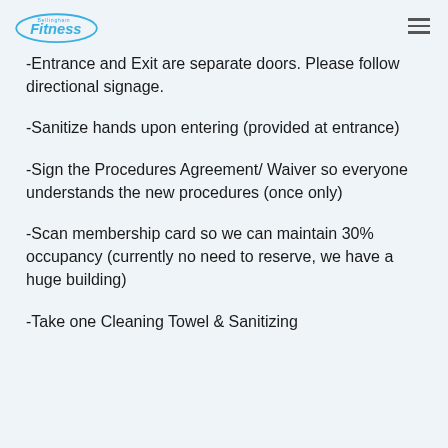Bellingham Fitness
-Entrance and Exit are separate doors. Please follow directional signage.
-Sanitize hands upon entering (provided at entrance)
-Sign the Procedures Agreement/ Waiver so everyone understands the new procedures (once only)
-Scan membership card so we can maintain 30% occupancy (currently no need to reserve, we have a huge building)
-Take one Cleaning Towel & Sanitizing